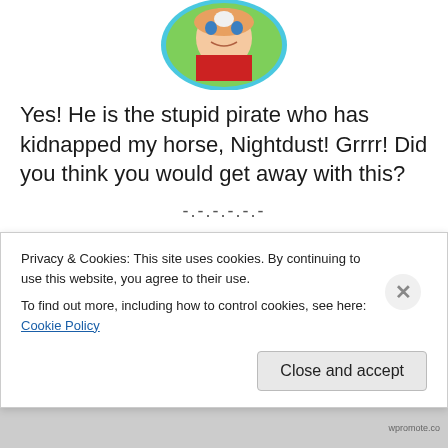[Figure (illustration): Circular avatar of a young girl with red outfit and blue border, game character portrait]
Yes! He is the stupid pirate who has kidnapped my horse, Nightdust! Grrrr! Did you think you would get away with this?
-.-.-.-.-.-
[Figure (illustration): Circular avatar of a dark-bearded man with pink/magenta background and blue border, game character portrait]
Privacy & Cookies: This site uses cookies. By continuing to use this website, you agree to their use.
To find out more, including how to control cookies, see here: Cookie Policy
Close and accept